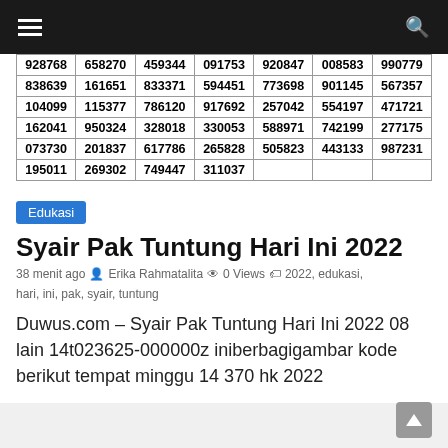Navigation bar with hamburger menu and search icon
| 928768 | 658270 | 459344 | 091753 | 920847 | 008583 | 990779 |
| 838639 | 161651 | 833371 | 594451 | 773698 | 901145 | 567357 |
| 104099 | 115377 | 786120 | 917692 | 257042 | 554197 | 471721 |
| 162041 | 950324 | 328018 | 330053 | 588971 | 742199 | 277175 |
| 073730 | 201837 | 617786 | 265828 | 505823 | 443133 | 987231 |
| 195011 | 269302 | 749447 | 311037 |  |  |  |
Edukasi
Syair Pak Tuntung Hari Ini 2022
38 menit ago  Erika Rahmatalita  0 Views  2022, edukasi, hari, ini, pak, syair, tuntung
Duwus.com – Syair Pak Tuntung Hari Ini 2022 08 lain 14t023625-000000z iniberbagigambar kode berikut tempat minggu 14 370 hk 2022